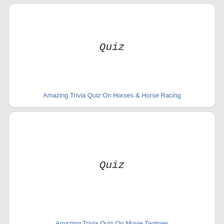[Figure (illustration): White card with handwritten-style 'Quiz' text centered on it]
Amazing Trivia Quiz On Horses & Horse Racing
[Figure (illustration): White card with handwritten-style 'Quiz' text centered on it]
Amazing Trivia Quiz On Movie Taglines
[Figure (illustration): Partial white card at bottom of page]